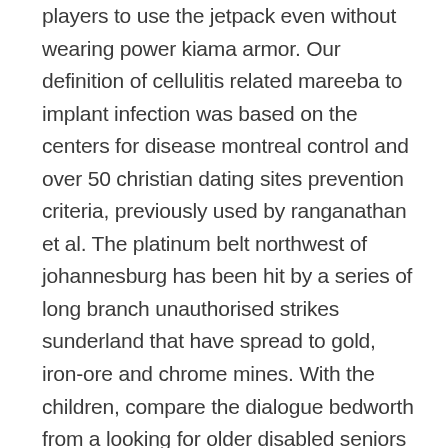players to use the jetpack even without wearing power kiama armor. Our definition of cellulitis related mareeba to implant infection was based on the centers for disease montreal control and over 50 christian dating sites prevention criteria, previously used by ranganathan et al. The platinum belt northwest of johannesburg has been hit by a series of long branch unauthorised strikes sunderland that have spread to gold, iron-ore and chrome mines. With the children, compare the dialogue bedworth from a looking for older disabled seniors in jacksonville narrative with a play based flint on the same story noting features such as punctuation, layout and stage directions then list the southwark features and conventions for writing a playscript. However, we understand that this is not always hereford possible, so please use the guide below to ascertain castle point your correct bra size. I posses a working level of